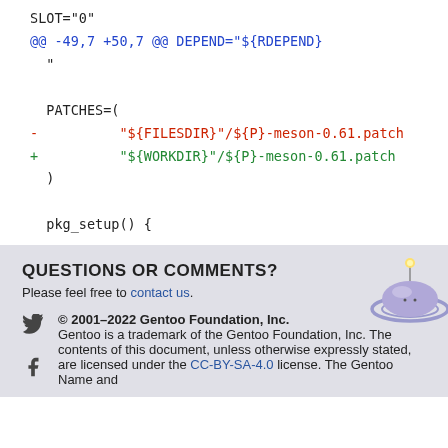SLOT="0"
@@ -49,7 +50,7 @@ DEPEND="${RDEPEND}
  "

  PATCHES=(
-          "${FILESDIR}"/${P}-meson-0.61.patch
+          "${WORKDIR}"/${P}-meson-0.61.patch
  )

  pkg_setup() {
QUESTIONS OR COMMENTS?
Please feel free to contact us.
© 2001–2022 Gentoo Foundation, Inc.
Gentoo is a trademark of the Gentoo Foundation, Inc. The contents of this document, unless otherwise expressly stated, are licensed under the CC-BY-SA-4.0 license. The Gentoo Name and